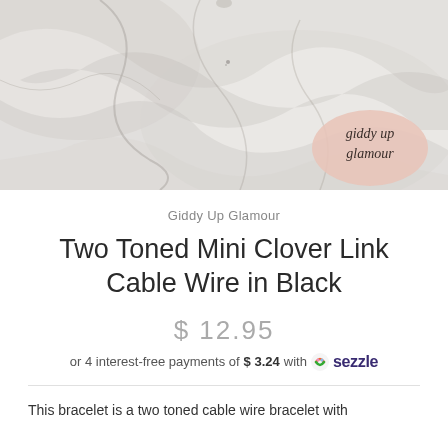[Figure (photo): Marble texture background photo with 'giddy up glamour' script logo badge in pink/rose tone at bottom right]
Giddy Up Glamour
Two Toned Mini Clover Link Cable Wire in Black
$ 12.95
or 4 interest-free payments of $ 3.24 with Sezzle
This bracelet is a two toned cable wire bracelet with